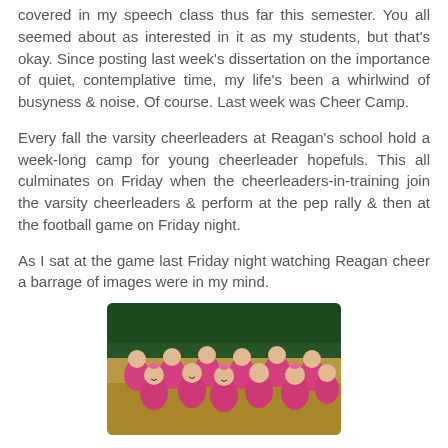covered in my speech class thus far this semester. You all seemed about as interested in it as my students, but that's okay. Since posting last week's dissertation on the importance of quiet, contemplative time, my life's been a whirlwind of busyness & noise. Of course. Last week was Cheer Camp.
Every fall the varsity cheerleaders at Reagan's school hold a week-long camp for young cheerleader hopefuls. This all culminates on Friday when the cheerleaders-in-training join the varsity cheerleaders & perform at the pep rally & then at the football game on Friday night.
As I sat at the game last Friday night watching Reagan cheer a barrage of images were in my mind.
[Figure (photo): Group of young girls in pink shirts at cheerleader camp, smiling at the camera in a gymnasium setting.]